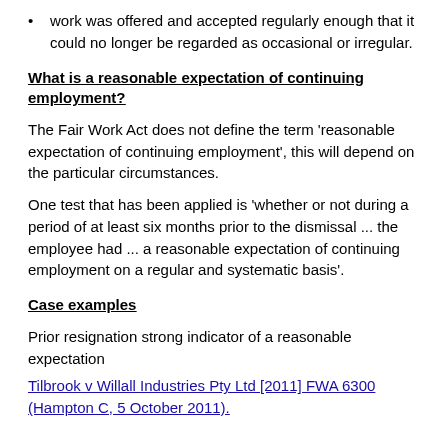work was offered and accepted regularly enough that it could no longer be regarded as occasional or irregular.
What is a reasonable expectation of continuing employment?
The Fair Work Act does not define the term 'reasonable expectation of continuing employment', this will depend on the particular circumstances.
One test that has been applied is 'whether or not during a period of at least six months prior to the dismissal ... the employee had ... a reasonable expectation of continuing employment on a regular and systematic basis'.
Case examples
Prior resignation strong indicator of a reasonable expectation
Tilbrook v Willall Industries Pty Ltd [2011] FWA 6300 (Hampton C, 5 October 2011).